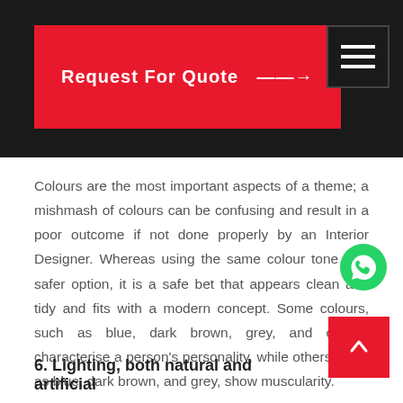Request For Quote →
Colours are the most important aspects of a theme; a mishmash of colours can be confusing and result in a poor outcome if not done properly by an Interior Designer. Whereas using the same colour tone is a safer option, it is a safe bet that appears clean and tidy and fits with a modern concept. Some colours, such as blue, dark brown, grey, and others, characterise a person's personality, while others, such as blue, dark brown, and grey, show muscularity.
[Figure (logo): WhatsApp green icon]
6. Lighting, both natural and artificial